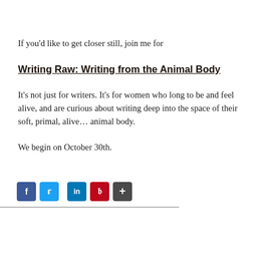If you'd like to get closer still, join me for
Writing Raw: Writing from the Animal Body
It's not just for writers. It's for women who long to be and feel alive, and are curious about writing deep into the space of their soft, primal, alive… animal body.
We begin on October 30th.
[Figure (infographic): Social media sharing buttons: Facebook (blue), Twitter (blue), LinkedIn (blue), Pinterest (red), Share (grey/dark)]
[Figure (photo): Partial photo visible at bottom right of page, appears to be a grayscale/muted image]